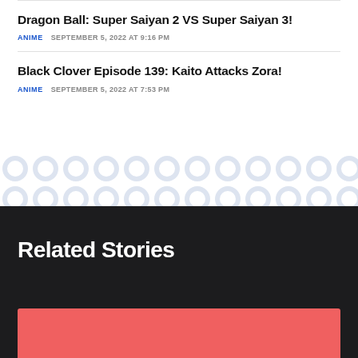Dragon Ball: Super Saiyan 2 VS Super Saiyan 3!
ANIME   SEPTEMBER 5, 2022 AT 9:16 PM
Black Clover Episode 139: Kaito Attacks Zora!
ANIME   SEPTEMBER 5, 2022 AT 7:53 PM
Related Stories
[Figure (other): Red/salmon colored rectangle placeholder image]